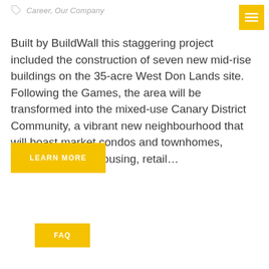Career, Our Company
Built by BuildWall this staggering project included the construction of seven new mid-rise buildings on the 35-acre West Don Lands site. Following the Games, the area will be transformed into the mixed-use Canary District Community, a vibrant new neighbourhood that will boast market condos and townhomes, affordable rental housing, retail...
LEARN MORE
FAQ